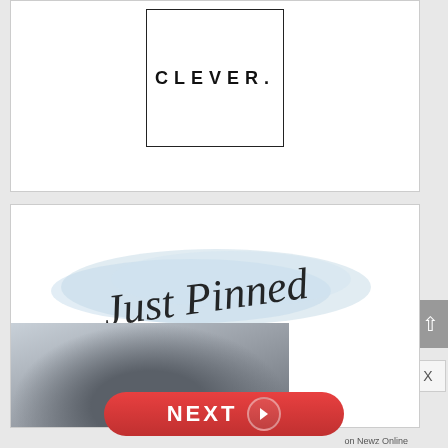[Figure (logo): CLEVER. logo inside a square border box]
[Figure (illustration): Just Pinned cursive script text on light blue watercolor brush stroke background, with a photo of jewelry/accessories below]
[Figure (other): NEXT navigation button in red pill shape with arrow, and 'on Newz Online' label]